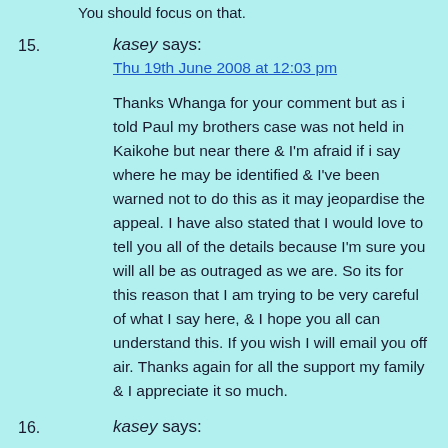You should focus on that.
15. kasey says:
Thu 19th June 2008 at 12:03 pm

Thanks Whanga for your comment but as i told Paul my brothers case was not held in Kaikohe but near there & I'm afraid if i say where he may be identified & I've been warned not to do this as it may jeopardise the appeal. I have also stated that I would love to tell you all of the details because I'm sure you will all be as outraged as we are. So its for this reason that I am trying to be very careful of what I say here, & I hope you all can understand this. If you wish I will email you off air. Thanks again for all the support my family & I appreciate it so much.
16. kasey says: